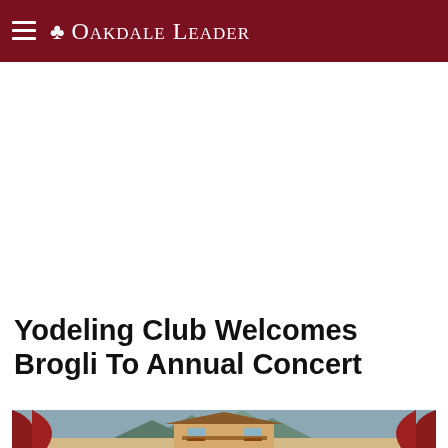The Oakdale Leader
Yodeling Club Welcomes Brogli To Annual Concert
[Figure (illustration): Bottom portion of a stage scene showing a wooden Alpine chalet/cabin structure with red curtains on either side and a painted mountain backdrop]